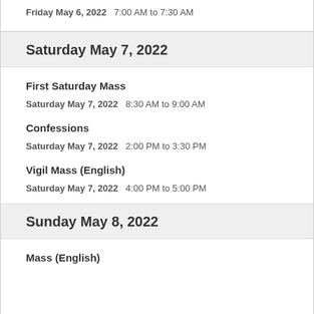Friday May 6, 2022   7:00 AM to 7:30 AM
Saturday May 7, 2022
First Saturday Mass
Saturday May 7, 2022   8:30 AM to 9:00 AM
Confessions
Saturday May 7, 2022   2:00 PM to 3:30 PM
Vigil Mass (English)
Saturday May 7, 2022   4:00 PM to 5:00 PM
Sunday May 8, 2022
Mass (English)